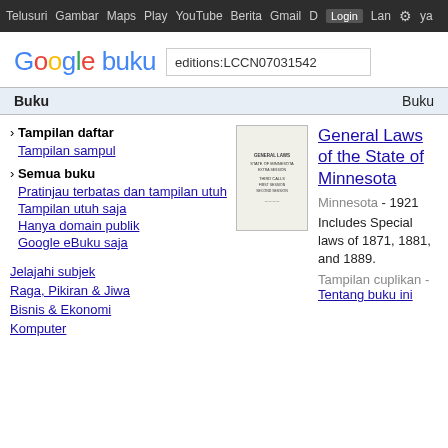Telusuri Gambar Maps Play YouTube Berita Gmail D Login Lainnya
Google buku  editions:LCCN07031542
Buku  Buku
› Tampilan daftar
Tampilan sampul
› Semua buku
Pratinjau terbatas dan tampilan utuh
Tampilan utuh saja
Hanya domain publik
Google eBuku saja
[Figure (illustration): Thumbnail of book cover for General Laws of the State of Minnesota]
General Laws of the State of Minnesota
Minnesota - 1921
Includes Special laws of 1871, 1881, and 1889.
Tampilan cuplikan - Tentang buku ini
Jelajahi subjek
Raga, Pikiran & Jiwa
Bisnis & Ekonomi
Komputer